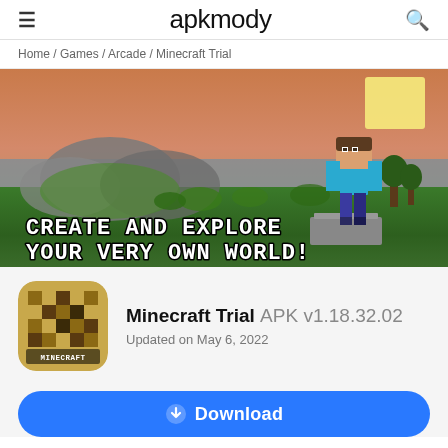apkmody
Home / Games / Arcade / Minecraft Trial
[Figure (screenshot): Minecraft game screenshot showing a player character (Steve) standing on a stone block overlooking a green landscape at sunset, with white block text reading CREATE AND EXPLORE YOUR VERY OWN WORLD!]
[Figure (logo): Minecraft Trial app icon with pixelated brown/sand block pattern and MINECRAFT text]
Minecraft Trial APK v1.18.32.02
Updated on May 6, 2022
Download